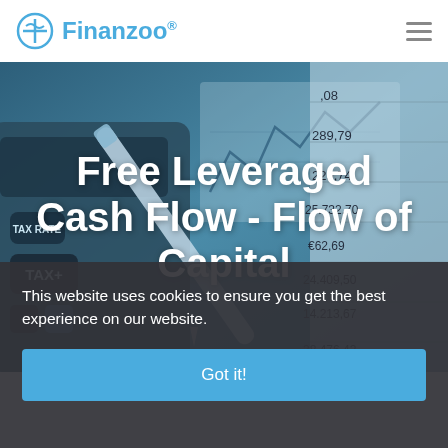Finanzoo®
[Figure (photo): Background hero image showing a calculator with TAX+ key, financial spreadsheet with Euro amounts (€289,79; €229,74; €25.732,70; €62,69; €24.409,50; €14.213,67; €38.476,42; €64.597,09), a pen, and a line chart graph — all in blue-grey tones]
Free Leveraged Cash Flow - Flow of Capital
This website uses cookies to ensure you get the best experience on our website.
Got it!